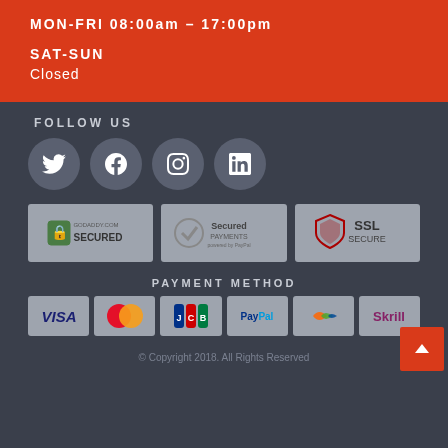MON-FRI 08:00am - 17:00pm
SAT-SUN
Closed
FOLLOW US
[Figure (infographic): Four social media icons: Twitter, Facebook, Instagram, LinkedIn — each in a grey circle]
[Figure (infographic): Three security badge boxes: GoDaddy Secured, Secured Payments powered by PayPal, SSL Secure]
PAYMENT METHOD
[Figure (infographic): Six payment method logos: Visa, MasterCard, JCB, PayPal, a wave/contactless logo, Skrill]
© Copyright 2018. All Rights Reserved